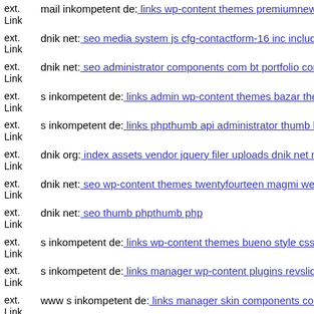ext. Link mail inkompetent de: links wp-content themes premiumnews s
ext. Link dnik net: seo media system js cfg-contactform-16 inc includes s
ext. Link dnik net: seo administrator components com bt portfolio compo
ext. Link s inkompetent de: links admin wp-content themes bazar theme
ext. Link s inkompetent de: links phpthumb api administrator thumb http
ext. Link dnik org: index assets vendor jquery filer uploads dnik net mail
ext. Link dnik net: seo wp-content themes twentyfourteen magmi web ja
ext. Link dnik net: seo thumb phpthumb php
ext. Link s inkompetent de: links wp-content themes bueno style css
ext. Link s inkompetent de: links manager wp-content plugins revslider r
ext. Link www s inkompetent de: links manager skin components com ca